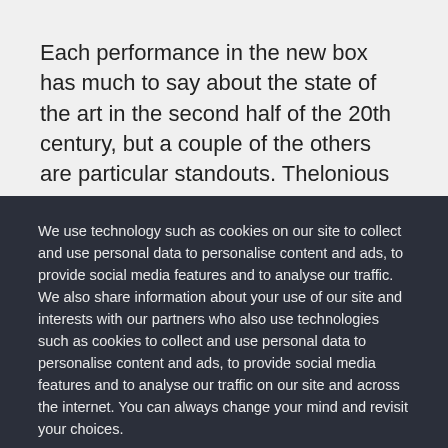Each performance in the new box has much to say about the state of the art in the second half of the 20th century, but a couple of the others are particular standouts. Thelonious Monk, in 1969, is captured in a solo set-sans audience-in a TV studio. Following a brief rehearsal surrounded by tech crew, Monk, filmed
We use technology such as cookies on our site to collect and use personal data to personalise content and ads, to provide social media features and to analyse our traffic. We also share information about your use of our site and interests with our partners who also use technologies such as cookies to collect and use personal data to personalise content and ads, to provide social media features and to analyse our traffic on our site and across the internet. You can always change your mind and revisit your choices.
Manage Options | I Accept